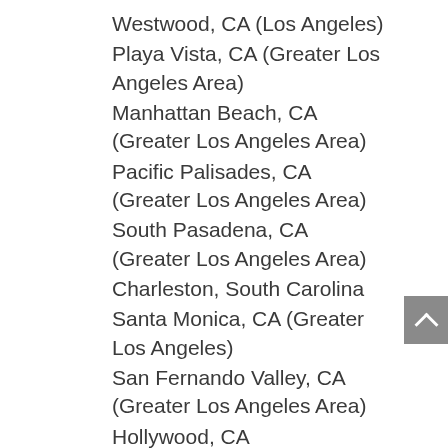Westwood, CA (Los Angeles)
Playa Vista, CA (Greater Los Angeles Area)
Manhattan Beach, CA (Greater Los Angeles Area)
Pacific Palisades, CA (Greater Los Angeles Area)
South Pasadena, CA (Greater Los Angeles Area)
Charleston, South Carolina
Santa Monica, CA (Greater Los Angeles)
San Fernando Valley, CA (Greater Los Angeles Area)
Hollywood, CA
Sherman Oaks, CA (Greater Los Angeles Area)